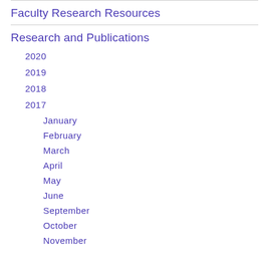Faculty Research Resources
Research and Publications
2020
2019
2018
2017
January
February
March
April
May
June
September
October
November